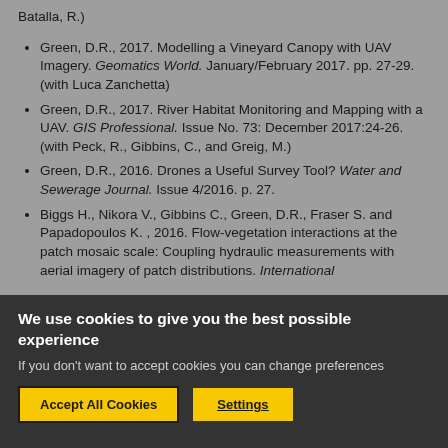Batalla, R.)
Green, D.R., 2017. Modelling a Vineyard Canopy with UAV Imagery. Geomatics World. January/February 2017. pp. 27-29. (with Luca Zanchetta)
Green, D.R., 2017. River Habitat Monitoring and Mapping with a UAV. GIS Professional. Issue No. 73: December 2017:24-26. (with Peck, R., Gibbins, C., and Greig, M.)
Green, D.R., 2016. Drones a Useful Survey Tool? Water and Sewerage Journal. Issue 4/2016. p. 27.
Biggs H., Nikora V., Gibbins C., Green, D.R., Fraser S. and Papadopoulos K. , 2016. Flow-vegetation interactions at the patch mosaic scale: Coupling hydraulic measurements with aerial imagery of patch distributions. International
We use cookies to give you the best possible experience
If you don't want to accept cookies you can change preferences
Accept All Cookies
Settings